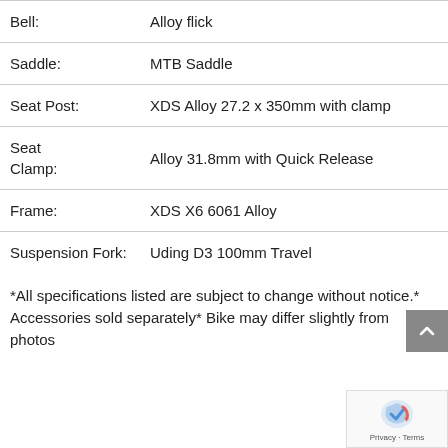| Specification | Value |
| --- | --- |
| Bell: | Alloy flick |
| Saddle: | MTB Saddle |
| Seat Post: | XDS Alloy 27.2 x 350mm with clamp |
| Seat Clamp: | Alloy 31.8mm with Quick Release |
| Frame: | XDS X6 6061 Alloy |
| Suspension Fork: | Uding D3 100mm Travel |
*All specifications listed are subject to change without notice.* Accessories sold separately* Bike may differ slightly from photos